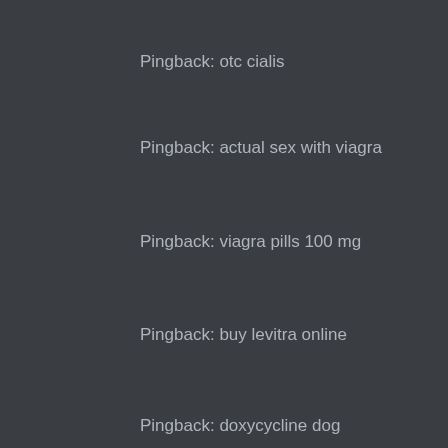Pingback: otc cialis
Pingback: actual sex with viagra
Pingback: viagra pills 100 mg
Pingback: buy levitra online
Pingback: doxycycline dog